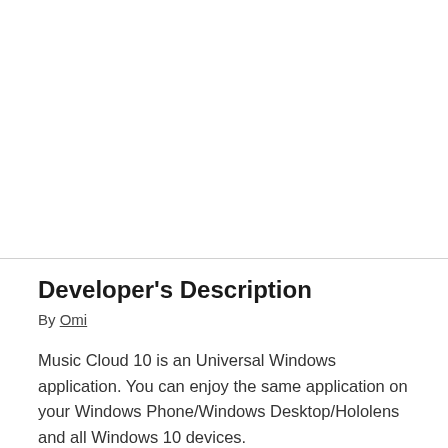[Figure (other): Blank white area at top of page, approximately half the page height]
Developer's Description
By Omi
Music Cloud 10 is an Universal Windows application. You can enjoy the same application on your Windows Phone/Windows Desktop/Hololens and all Windows 10 devices.
Listen to your favourite music - Stream or Download all your favorite artists for free. Install and you'll have access to